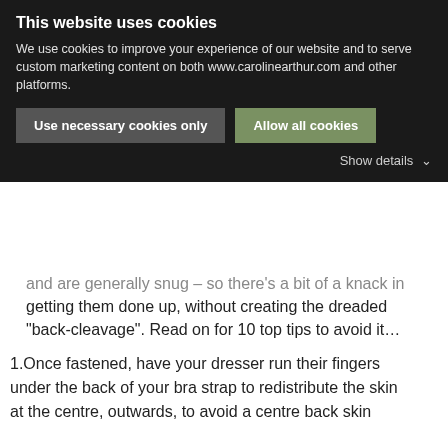This website uses cookies
We use cookies to improve your experience of our website and to serve custom marketing content on both www.carolinearthur.com and other platforms.
Use necessary cookies only | Allow all cookies
Show details
and are generally snug – so there's a bit of a knack in getting them done up, without creating the dreaded "back-cleavage". Read on for 10 top tips to avoid it…
1.Once fastened, have your dresser run their fingers under the back of your bra strap to redistribute the skin at the centre, outwards, to avoid a centre back skin crease.
2.Step into your dress and stand in front of a mirror with CORRECT POSTURE, so your dresser can also see your front in the mirror.
3.You will need to hold the top centre front of your